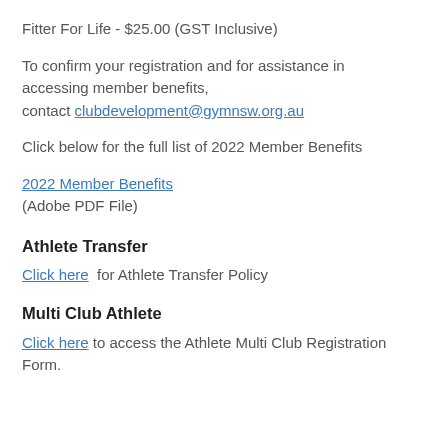Fitter For Life - $25.00 (GST Inclusive)
To confirm your registration and for assistance in accessing member benefits, contact clubdevelopment@gymnsw.org.au
Click below for the full list of 2022 Member Benefits
2022 Member Benefits
(Adobe PDF File)
Athlete Transfer
Click here  for Athlete Transfer Policy
Multi Club Athlete
Click here to access the Athlete Multi Club Registration Form.